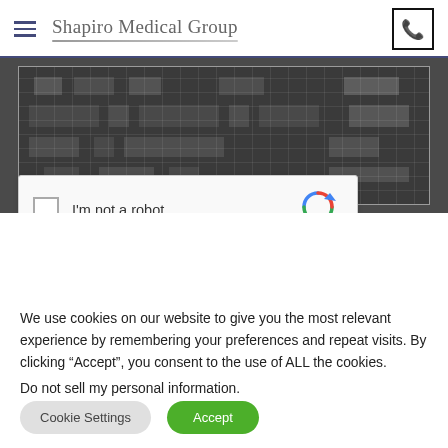Shapiro Medical Group
[Figure (screenshot): Dark hero background image showing a medical records/bookshelf grid pattern with a reCAPTCHA widget overlay reading 'I'm not a robot']
We use cookies on our website to give you the most relevant experience by remembering your preferences and repeat visits. By clicking “Accept”, you consent to the use of ALL the cookies.
Do not sell my personal information.
Cookie Settings
Accept